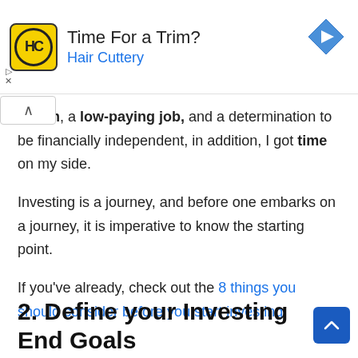[Figure (other): Advertisement banner for Hair Cuttery salon. Shows HC logo in yellow rounded square, text 'Time For a Trim?' and 'Hair Cuttery' in blue, with a blue navigation diamond icon on the right.]
cation, a low-paying job, and a determination to be financially independent, in addition, I got time on my side.
Investing is a journey, and before one embarks on a journey, it is imperative to know the starting point.
If you’ve already, check out the 8 things you should consider before you start investing.
2. Define your Investing End Goals